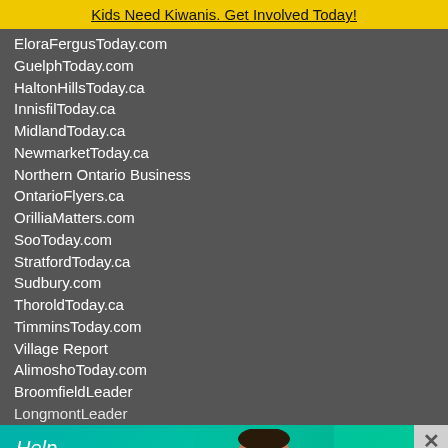Kids Need Kiwanis. Get Involved Today!
EloraFergusToday.com
GuelphToday.com
HaltonHillsToday.ca
InnisfilToday.ca
MidlandToday.ca
NewmarketToday.ca
Northern Ontario Business
OntarioFlyers.ca
OrilliaMatters.com
SooToday.com
StratfordToday.ca
Sudbury.com
ThoroldToday.ca
TimminsToday.com
Village Report
AlimoshoToday.com
BroomfieldLeader
LongmontLeader
[Figure (advertisement): Broomfield FISH charity ad: Help families in need. Learn More. Shows child eating. Teal/green background.]